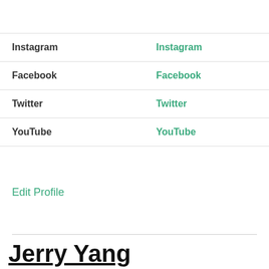| Instagram | Instagram |
| Facebook | Facebook |
| Twitter | Twitter |
| YouTube | YouTube |
Edit Profile
Jerry Yang Biography:
Jerry Yang Birthday
Jerry Yang was born on November 6, 1968 in Taipei, Taiwan